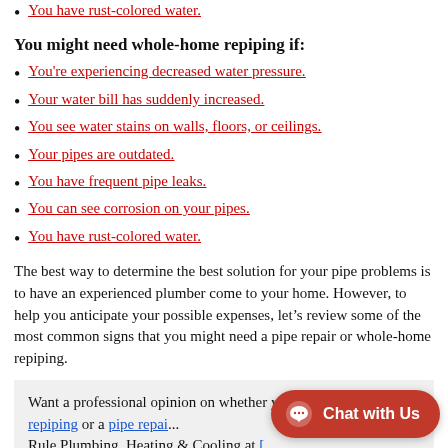You have rust-colored water.
You might need whole-home repiping if:
You're experiencing decreased water pressure.
Your water bill has suddenly increased.
You see water stains on walls, floors, or ceilings.
Your pipes are outdated.
You have frequent pipe leaks.
You can see corrosion on your pipes.
You have rust-colored water.
The best way to determine the best solution for your pipe problems is to have an experienced plumber come to your home. However, to help you anticipate your possible expenses, let's review some of the most common signs that you might need a pipe repair or whole-home repiping.
Want a professional opinion on whether you need whole-home repiping or a pipe repair? Contact Rule Plumbing, Heating & Cooling at [number] or contact us online.